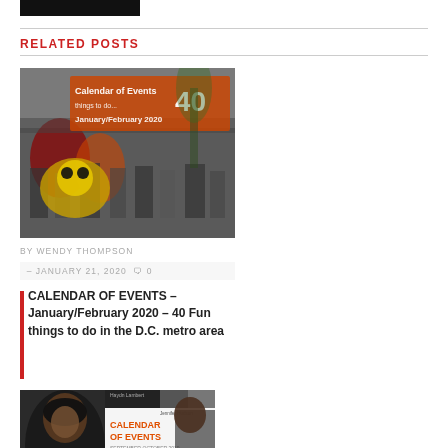[Figure (photo): Black logo bar at top]
RELATED POSTS
[Figure (photo): Calendar of Events January/February 2020 - 40 fun things to do in DC metro area, with Chinese New Year parade image and orange/red overlay text]
BY WENDY THOMPSON
– JANUARY 21, 2020  0
CALENDAR OF EVENTS – January/February 2020 – 40 Fun things to do in the D.C. metro area
[Figure (photo): Calendar of Events September/October 2019 - 40 things to do, featuring woman and man on cover]